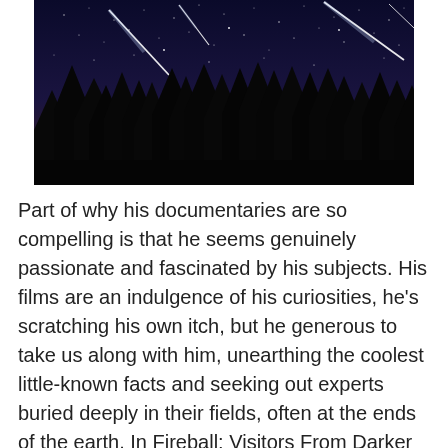[Figure (photo): A nighttime photograph of a meteor shower over a dark forest silhouette. Multiple bright meteors streak across a deep blue-purple and dark sky filled with stars. The horizon glows with a faint orange-red color from twilight. Tall evergreen trees form a dark silhouette in the foreground.]
Part of why his documentaries are so compelling is that he seems genuinely passionate and fascinated by his subjects. His films are an indulgence of his curiosities, he's scratching his own itch, but he generous to take us along with him, unearthing the coolest little-known facts and seeking out experts buried deeply in their fields, often at the ends of the earth. In Fireball: Visitors From Darker Places, Herzog has become obsessed with meteors and comets. Indeed, for as long as humans have been alive, we have observed these wonders and searched for their meaning. They have influenced ancient religions and global landscapes, cultures